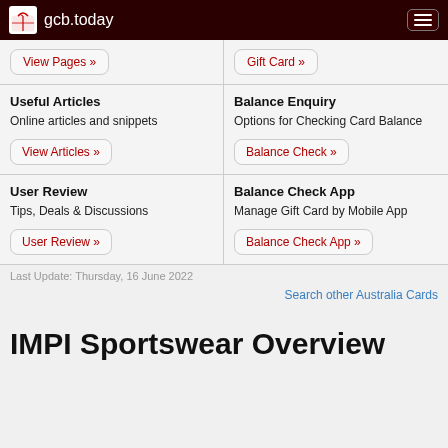gcb.today
View Pages »
Gift Card »
Useful Articles
Online articles and snippets
View Articles »
Balance Enquiry
Options for Checking Card Balance
Balance Check »
User Review
Tips, Deals & Discussions
User Review »
Balance Check App
Manage Gift Card by Mobile App
Balance Check App »
Last Update: Thursday, 16 June 2022
Search other Australia Cards
IMPI Sportswear Overview